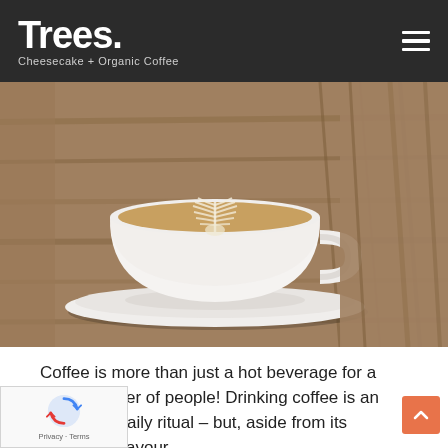Trees. Cheesecake + Organic Coffee
[Figure (photo): Close-up photograph of a white ceramic coffee cup with latte art (leaf/fern pattern) on a wooden table surface]
Coffee is more than just a hot beverage for a great number of people! Drinking coffee is an enjoyable daily ritual – but, aside from its awesome flavour